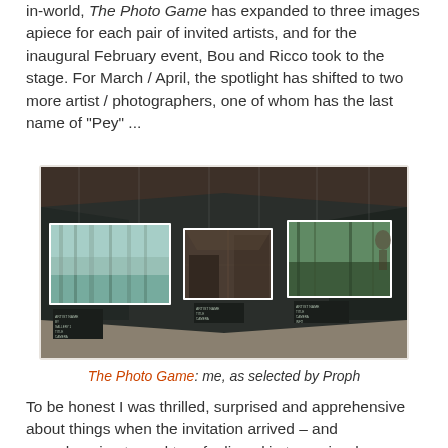in-world, The Photo Game has expanded to three images apiece for each pair of invited artists, and for the inaugural February event, Bou and Ricco took to the stage. For March / April, the spotlight has shifted to two more artist / photographers, one of whom has the last name of "Pey" ...
[Figure (photo): A virtual gallery interior showing three framed photographs hung on dark walls with small labels beneath each one. The leftmost photo is of a misty forest scene, the center shows an interior architectural scene, and the right shows an outdoor scene. The gallery has a stone/tile floor and ceiling molding.]
The Photo Game: me, as selected by Proph
To be honest I was thrilled, surprised and apprehensive about things when the invitation arrived – and apprehension turned to a feeling akin to panic when